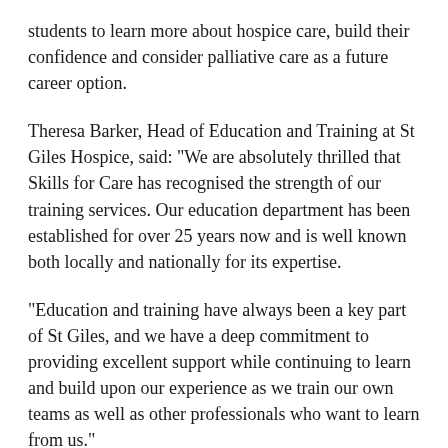students to learn more about hospice care, build their confidence and consider palliative care as a future career option.
Theresa Barker, Head of Education and Training at St Giles Hospice, said: "We are absolutely thrilled that Skills for Care has recognised the strength of our training services. Our education department has been established for over 25 years now and is well known both locally and nationally for its expertise.
"Education and training have always been a key part of St Giles, and we have a deep commitment to providing excellent support while continuing to learn and build upon our experience as we train our own teams as well as other professionals who want to learn from us."
Skills for Care endorsement is the bespoke quality mark given to the best learning and development providers in the adult